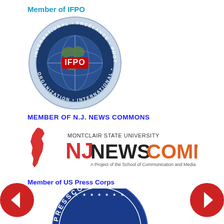Member of IFPO
[Figure (logo): IFPO (International Freelance Photographers Organization) circular badge/seal with globe, crosshairs, and red IFPO text in center, surrounded by text: INTERNATIONAL FREELANCE PHOTOGRAPHERS ORGANIZATION]
MEMBER OF N.J. NEWS COMMONS
[Figure (logo): NJ News Commons logo — red NJ state silhouette on left, MONTCLAIR STATE UNIVERSITY text above, NJ (red) NEWSCOMMONS (orange) text in large bold font, A Project of the School of Communication and Media below]
Member of US Press Corps
[Figure (logo): US Press Corps circular badge/seal, dark blue with stars and PRESSCORPS text around the border, partially cropped at bottom of page]
[Figure (other): Left navigation arrow — red circle with white left-pointing chevron]
[Figure (other): Right navigation arrow — red circle with white right-pointing chevron]